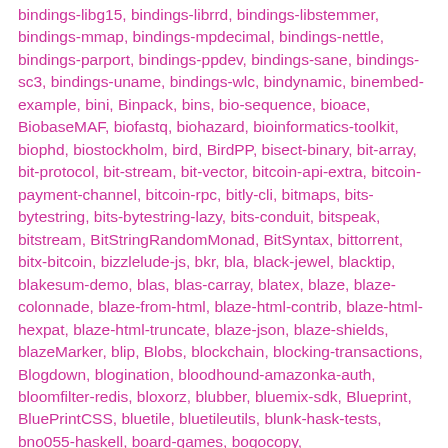bindings-libg15, bindings-librrd, bindings-libstemmer, bindings-mmap, bindings-mpdecimal, bindings-nettle, bindings-parport, bindings-ppdev, bindings-sane, bindings-sc3, bindings-uname, bindings-wlc, bindynamic, binembed-example, bini, Binpack, bins, bio-sequence, bioace, BiobaseMAF, biofastq, biohazard, bioinformatics-toolkit, biophd, biostockholm, bird, BirdPP, bisect-binary, bit-array, bit-protocol, bit-stream, bit-vector, bitcoin-api-extra, bitcoin-payment-channel, bitcoin-rpc, bitly-cli, bitmaps, bits-bytestring, bits-bytestring-lazy, bits-conduit, bitspeak, bitstream, BitStringRandomMonad, BitSyntax, bittorrent, bitx-bitcoin, bizzlelude-js, bkr, bla, black-jewel, blacktip, blakesum-demo, blas, blas-carray, blatex, blaze, blaze-colonnade, blaze-from-html, blaze-html-contrib, blaze-html-hexpat, blaze-html-truncate, blaze-json, blaze-shields, blazeMarker, blip, Blobs, blockchain, blocking-transactions, Blogdown, blogination, bloodhound-amazonka-auth, bloomfilter-redis, bloxorz, blubber, bluemix-sdk, Blueprint, BluePrintCSS, bluetile, bluetileutils, blunk-hask-tests, bno055-haskell, board-games, bogocopy,